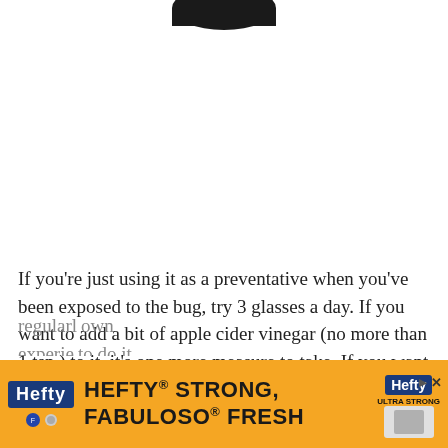[Figure (photo): Partial view of a dark bottle top against a white background, cropped at the top of the page]
If you're just using it as a preventative when you've been exposed to the bug, try 3 glasses a day. If you want to add a bit of apple cider vinegar (no more than 1 tsp.) to it, it's one more measure to take. If you want to add it to your diet regularly...own experience...to do it (I think...hurt
[Figure (advertisement): Hefty brand advertisement with orange background showing 'HEFTY STRONG, FABULOSO FRESH' text with Hefty and Fabuloso logos]